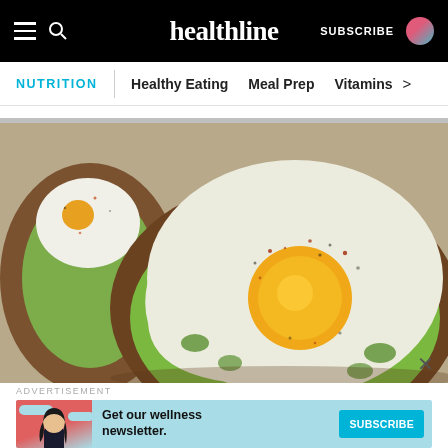healthline | SUBSCRIBE
NUTRITION | Healthy Eating | Meal Prep | Vitamins >
[Figure (photo): Overhead photo of avocado toast with a fried egg on top, sprinkled with spices and pepper, on parchment paper. A second piece of avocado toast is partially visible at the upper left.]
ADVERTISEMENT
[Figure (infographic): Advertisement banner for Healthline newsletter. Light blue background with illustrated woman and clouds on left. Text reads: Get our wellness newsletter. Teal SUBSCRIBE button.]